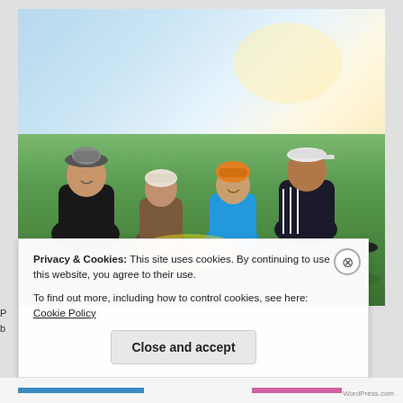[Figure (photo): Four people sitting on grass in an open field under a bright sky. From left: a man wearing a traditional Kyrgyz ak-kalpak hat and dark jacket; an older woman in a brown patterned vest; a younger woman in a bright blue jacket and orange hat; a man in a dark Adidas tracksuit with a white cap. They are gathered around colorful items including what appears to be a watermelon on the grass.]
Privacy & Cookies: This site uses cookies. By continuing to use this website, you agree to their use.
To find out more, including how to control cookies, see here: Cookie Policy
Close and accept